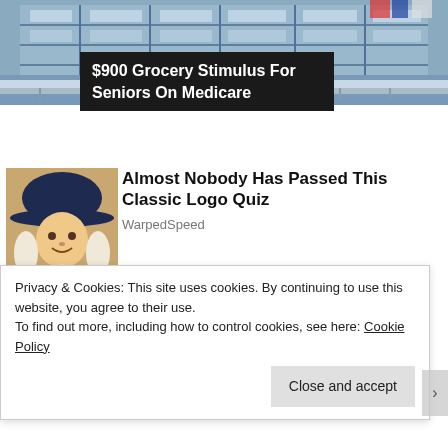[Figure (photo): Top portion of a webpage showing a building/government structure photo with blue-grey tones]
$900 Grocery Stimulus For Seniors On Medicare
[Figure (illustration): Quaker Oats man mascot illustration with dark navy hat, white wig/hair, colonial clothing]
Almost Nobody Has Passed This Classic Logo Quiz
WarpedSpeed
[Figure (photo): Partial photo showing hair/person for fashion article thumbnail]
Embarrassing Fashion Trends Boomers Won't
Privacy & Cookies: This site uses cookies. By continuing to use this website, you agree to their use.
To find out more, including how to control cookies, see here: Cookie Policy
Close and accept